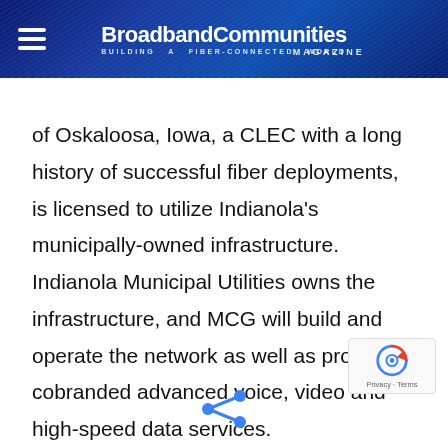BroadbandCommunities Magazine — Building a Fiber-Connected World
of Oskaloosa, Iowa, a CLEC with a long history of successful fiber deployments, is licensed to utilize Indianola's municipally-owned infrastructure. Indianola Municipal Utilities owns the infrastructure, and MCG will build and operate the network as well as provide cobranded advanced voice, video and high-speed data services.
[Figure (logo): reCAPTCHA logo badge with Privacy and Terms links]
[Figure (illustration): Share icon (blue social sharing symbol)]